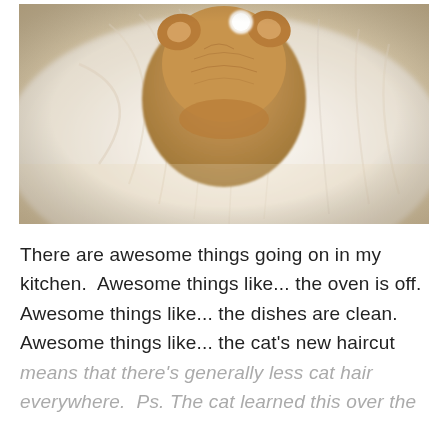[Figure (photo): Close-up photo of a cat from above, the cat appears to be resting on white pillows or bedding. The cat has orange/tan fur and seems to be groomed or wearing something on its head. Warm, soft-focus vintage-style photograph.]
There are awesome things going on in my kitchen.  Awesome things like... the oven is off.  Awesome things like... the dishes are clean.  Awesome things like... the cat's new haircut means that there's generally less cat hair everywhere.  Ps. The cat learned this over the